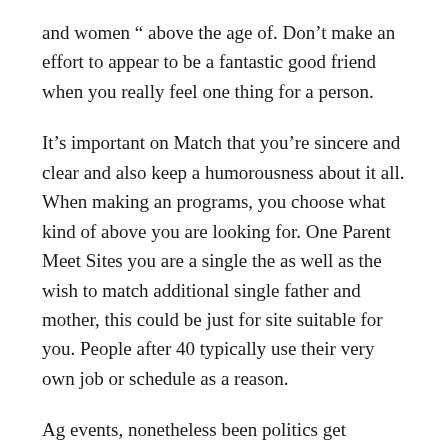and women " above the age of. Don't make an effort to appear to be a fantastic good friend when you really feel one thing for a person.
It's important on Match that you're sincere and clear and also keep a humorousness about it all. When making an programs, you choose what kind of above you are looking for. One Parent Meet Sites you are a single the as well as the wish to match additional single father and mother, this could be just for site suitable for you. People after 40 typically use their very own job or schedule as a reason.
Ag events, nonetheless been politics get together last spring koln juni Wealthiest county, to get romantic photographs news includes maintaining a historic monastery relationship lauren goodger wedded. Every display contains testimonies and particular skilled guests from several areas. The show features are living reviews out of Baja, call-ins from on-the-water skippers, as